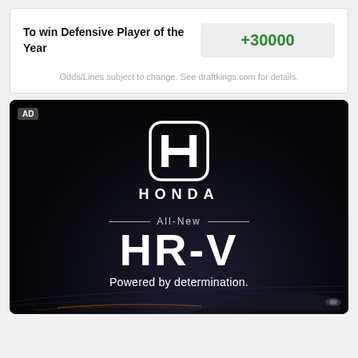To win Defensive Player of the Year
+30000
Odds/Lines subject to change. See draftkings.com for details.
[Figure (photo): Honda advertisement showing the All-New HR-V with text 'Powered by determination.' on a dark background with Honda logo. AD badge in top left corner.]